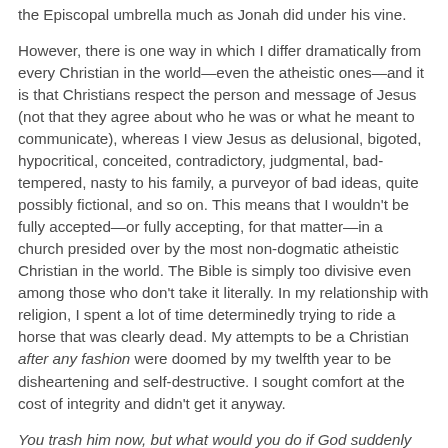the Episcopal umbrella much as Jonah did under his vine.
However, there is one way in which I differ dramatically from every Christian in the world—even the atheistic ones—and it is that Christians respect the person and message of Jesus (not that they agree about who he was or what he meant to communicate), whereas I view Jesus as delusional, bigoted, hypocritical, conceited, contradictory, judgmental, bad-tempered, nasty to his family, a purveyor of bad ideas, quite possibly fictional, and so on. This means that I wouldn't be fully accepted—or fully accepting, for that matter—in a church presided over by the most non-dogmatic atheistic Christian in the world. The Bible is simply too divisive even among those who don't take it literally. In my relationship with religion, I spent a lot of time determinedly trying to ride a horse that was clearly dead. My attempts to be a Christian after any fashion were doomed by my twelfth year to be disheartening and self-destructive. I sought comfort at the cost of integrity and didn't get it anyway.
You trash him now, but what would you do if God suddenly started talking to you from your monitor?